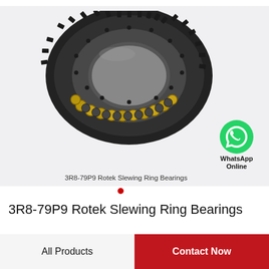[Figure (photo): 3R8-79P9 Rotek Slewing Ring Bearing — a large circular slewing ring bearing with external gear teeth, metallic dark body, and visible ball bearings with brass/gold-colored cage, shown in 3D product render on light gray background.]
3R8-79P9 Rotek Slewing Ring Bearings
[Figure (logo): WhatsApp green circle icon with white phone handset, labeled 'WhatsApp Online' in bold black text below.]
3R8-79P9 Rotek Slewing Ring Bearings
All Products
Contact Now